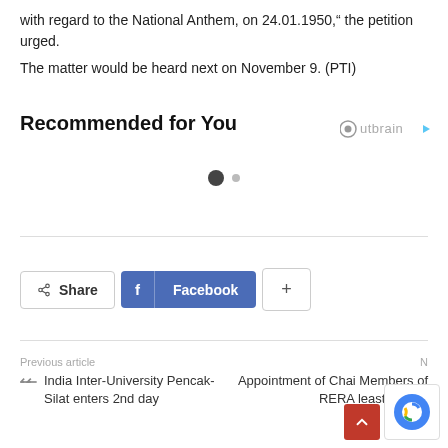with regard to the National Anthem, on 24.01.1950,” the petition urged.
The matter would be heard next on November 9. (PTI)
Recommended for You
[Figure (other): Outbrain recommendation widget logo with circle 'o' icon and play arrow]
[Figure (other): Carousel navigation dots: one large dark dot and one small grey dot]
[Figure (other): Share button with share icon and 'Share' label; Facebook button with 'f' icon and 'Facebook' label; plus (+) button]
Previous article
India Inter-University Pencak-Silat enters 2nd day
Appointment of Chair Members of RERA least priority